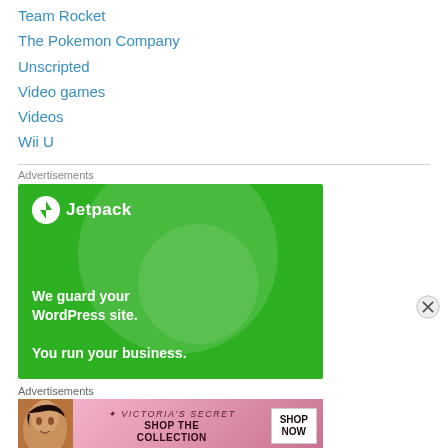Team Rocket
The Pokemon Company
Unscripted
Video games
Videos
Wii U
Advertisements
[Figure (advertisement): Jetpack advertisement on green background with text 'We guard your WordPress site. You run your business.']
Advertisements
[Figure (advertisement): Victoria's Secret advertisement with 'SHOP THE COLLECTION' and 'SHOP NOW' button on pink background]